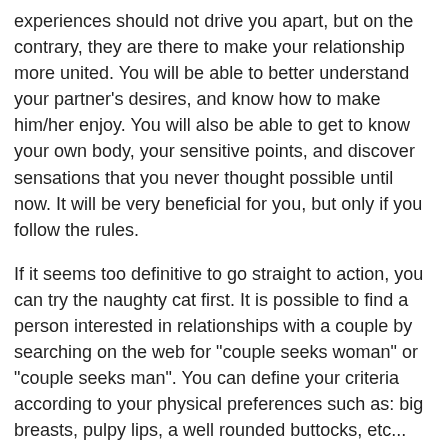experiences should not drive you apart, but on the contrary, they are there to make your relationship more united. You will be able to better understand your partner's desires, and know how to make him/her enjoy. You will also be able to get to know your own body, your sensitive points, and discover sensations that you never thought possible until now. It will be very beneficial for you, but only if you follow the rules.
If it seems too definitive to go straight to action, you can try the naughty cat first. It is possible to find a person interested in relationships with a couple by searching on the web for "couple seeks woman" or "couple seeks man". You can define your criteria according to your physical preferences such as: big breasts, pulpy lips, a well rounded buttocks, etc... You can also base your criteria on more selective criteria such as age, profession, lifestyle, etc. You can then take it to the next level with, for example, a webcam chat. At this level, anything goes.
You will be able to find out whether you are willing to really take action, or whether you prefer to go backwards. However, you should know that most of the time, those who try libertine or